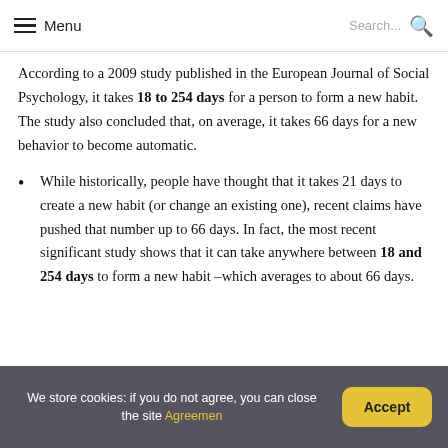Menu   Search...
According to a 2009 study published in the European Journal of Social Psychology, it takes 18 to 254 days for a person to form a new habit. The study also concluded that, on average, it takes 66 days for a new behavior to become automatic.
While historically, people have thought that it takes 21 days to create a new habit (or change an existing one), recent claims have pushed that number up to 66 days. In fact, the most recent significant study shows that it can take anywhere between 18 and 254 days to form a new habit –which averages to about 66 days.
We store cookies: if you do not agree, you can close the site Agreement   Accept